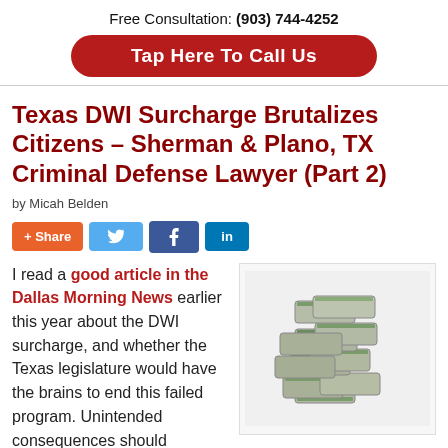Free Consultation: (903) 744-4252
Tap Here To Call Us
Texas DWI Surcharge Brutalizes Citizens – Sherman & Plano, TX Criminal Defense Lawyer (Part 2)
by Micah Belden
[Figure (infographic): Social share buttons: +Share (orange), Twitter bird icon (blue), Facebook f icon (dark blue), LinkedIn in icon (blue)]
[Figure (photo): A stack of bundled banknotes or currency packets on a white background]
I read a good article in the Dallas Morning News earlier this year about the DWI surcharge, and whether the Texas legislature would have the brains to end this failed program. Unintended consequences should